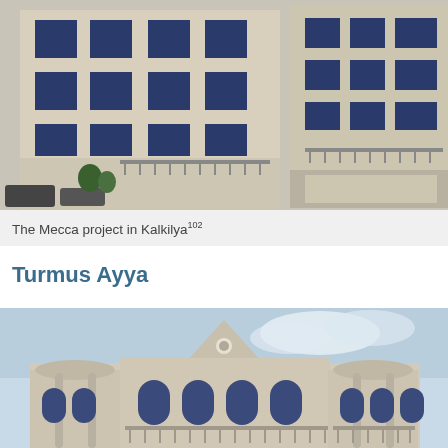[Figure (photo): Photograph of the Mecca project building in Kalkilya — a multi-story stone-clad apartment block with blue-framed windows and iron railings on balconies, cars visible at street level.]
The Mecca project in Kalkilya¹°²
Turmus Ayya
[Figure (photo): Photograph of a large multi-story residential villa in Turmus Ayya — ornate stone facade with arched windows, columns, decorative balconies and a triangular gabled roof, set against a light blue sky.]